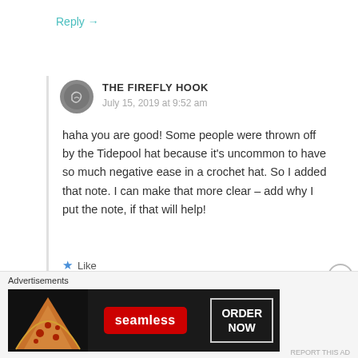Reply →
THE FIREFLY HOOK
July 15, 2019 at 9:52 am
haha you are good! Some people were thrown off by the Tidepool hat because it's uncommon to have so much negative ease in a crochet hat. So I added that note. I can make that more clear – add why I put the note, if that will help!
★ Like
Advertisements
[Figure (photo): Seamless food delivery advertisement banner showing pizza slices on the left, a red Seamless logo in the center, and an 'ORDER NOW' button on the right, all on a dark background.]